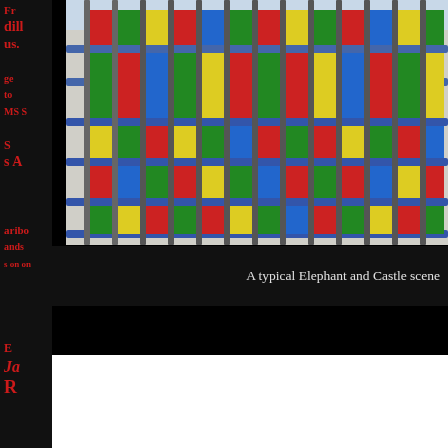[Figure (photo): Colorful tiled fence panels in red, green, yellow, blue at Elephant and Castle, London. Metal railings with bright rectangular ceramic or painted tiles visible through them.]
A typical Elephant and Castle scene
Thanks to its post-war jumble of tower blocks, roaring traffic a... Elephant and Castle has become rather unloved over the years... area's long and fascinating history, is a sentiment nothing short...
Before the Elephant
Advertisements